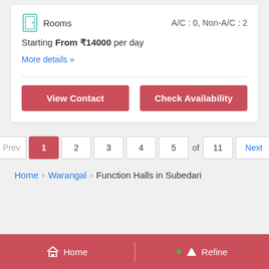Rooms  A/C : 0, Non-A/C : 2
Starting From ₹14000 per day
More details »
View Contact
Check Availability
Prev  1  2  3  4  5  of  11  Next
Home > Warangal > Function Halls in Subedari
Home   Refine